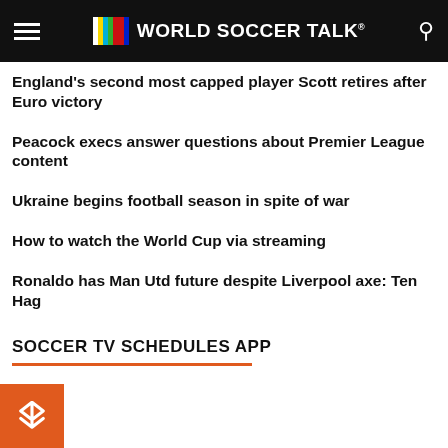WORLD SOCCER TALK
England's second most capped player Scott retires after Euro victory
Peacock execs answer questions about Premier League content
Ukraine begins football season in spite of war
How to watch the World Cup via streaming
Ronaldo has Man Utd future despite Liverpool axe: Ten Hag
SOCCER TV SCHEDULES APP